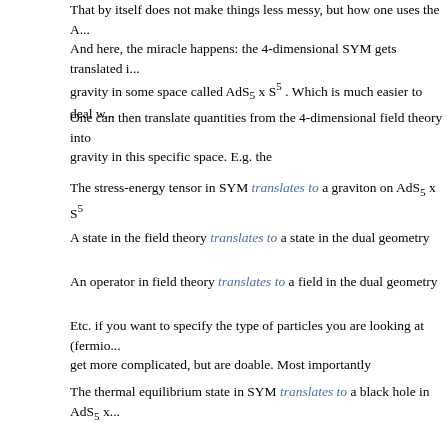That by itself does not make things less messy, but how one uses the A... And here, the miracle happens: the 4-dimensional SYM gets translated i... gravity in some space called AdS5 x S5. Which is much easier to deal w...
One can then translate quantities from the 4-dimensional field theory into gravity in this specific space. E.g. the
The stress-energy tensor in SYM translates to a graviton on AdS5 x S5
A state in the field theory translates to a state in the dual geometry
An operator in field theory translates to a field in the dual geometry
Etc. if you want to specify the type of particles you are looking at (fermio... get more complicated, but are doable. Most importantly
The thermal equilibrium state in SYM translates to a black hole in AdS5 x...
And so, Marcus, I am very proud to say that at least my time at UCSB e... question what the QGP has to do with a black hole.
However, the general relativity one has now translated the field theory in... large N. For small N, one would need to know quantum gravity - or string... assumed that N is 'large enough', which might or might not include N...